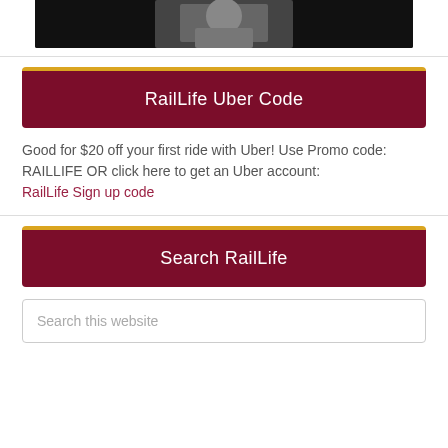[Figure (photo): Partial photo of a person, dark/black background, cropped at top of page]
RailLife Uber Code
Good for $20 off your first ride with Uber! Use Promo code: RAILLIFE OR click here to get an Uber account: RailLife Sign up code
Search RailLife
Search this website